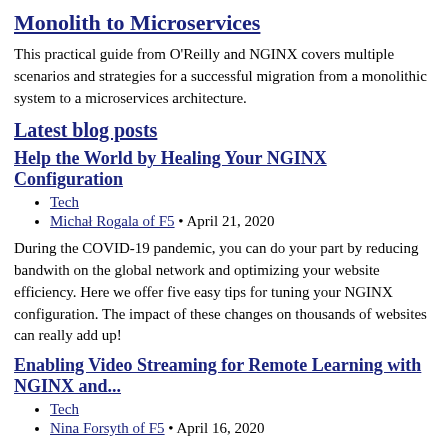Monolith to Microservices
This practical guide from O'Reilly and NGINX covers multiple scenarios and strategies for a successful migration from a monolithic system to a microservices architecture.
Latest blog posts
Help the World by Healing Your NGINX Configuration
Tech
Michał Rogala of F5 • April 21, 2020
During the COVID-19 pandemic, you can do your part by reducing bandwith on the global network and optimizing your website efficiency. Here we offer five easy tips for tuning your NGINX configuration. The impact of these changes on thousands of websites can really add up!
Enabling Video Streaming for Remote Learning with NGINX and...
Tech
Nina Forsyth of F5 • April 16, 2020